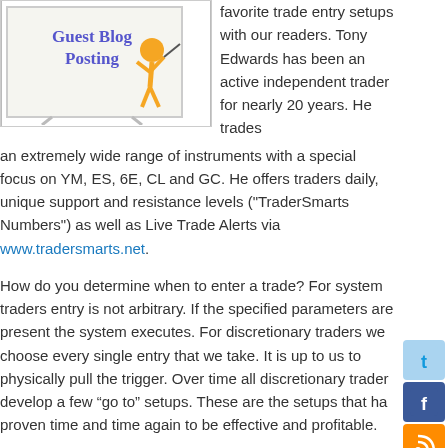[Figure (illustration): Guest Blog Posting sign with orange figure writing on whiteboard, blue/purple cursive text reading 'Guest Blog Posting']
favorite trade entry setups with our readers. Tony Edwards has been an active independent trader for nearly 20 years. He trades an extremely wide range of instruments with a special focus on YM, ES, 6E, CL and GC. He offers traders daily, unique support and resistance levels ("TraderSmarts Numbers") as well as Live Trade Alerts via www.tradersmarts.net.
How do you determine when to enter a trade? For system traders entry is not arbitrary. If the specified parameters are present the system executes. For discretionary traders we choose every single entry that we take. It is up to us to physically pull the trigger. Over time all discretionary traders develop a few “go to” setups. These are the setups that have proven time and time again to be effective and profitable.
One of my favorite trade entry setups is what I call the 1 2 Divergence.   CONTINUE READING →